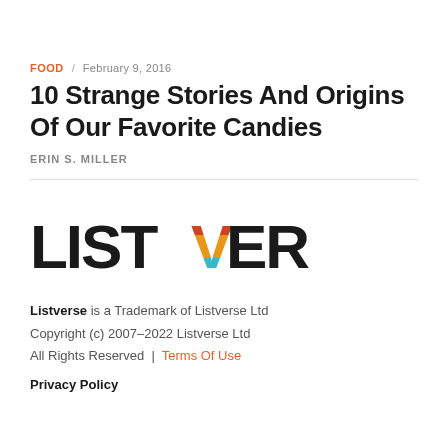FOOD  FEBRUARY 9, 2016
10 Strange Stories And Origins Of Our Favorite Candies
ERIN S. MILLER
[Figure (logo): Listverse logo in bold black text with the V in multicolor (red, orange, teal)]
Listverse is a Trademark of Listverse Ltd
Copyright (c) 2007–2022 Listverse Ltd
All Rights Reserved | Terms Of Use
Privacy Policy